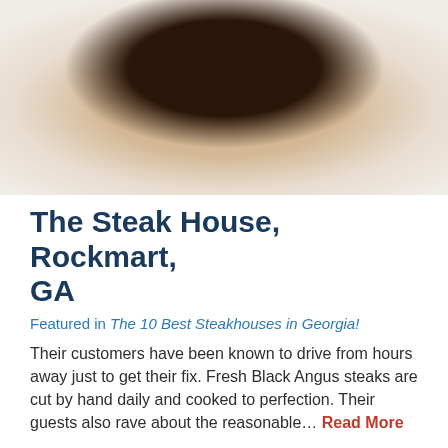[Figure (photo): Close-up photo of a plated steak dish on a white plate with garnishes and sauce]
The Steak House, Rockmart, GA
Featured in The 10 Best Steakhouses in Georgia!
Their customers have been known to drive from hours away just to get their fix. Fresh Black Angus steaks are cut by hand daily and cooked to perfection. Their guests also rave about the reasonable... Read More
[Figure (photo): Close-up photo of red grill grates texture]